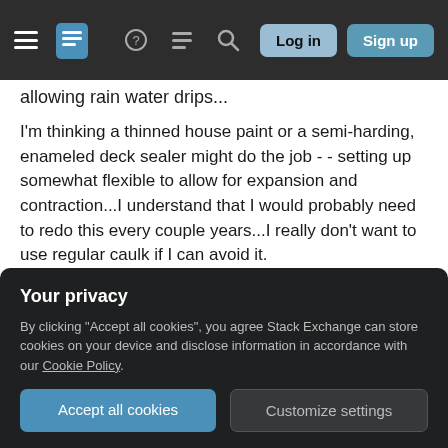Stack Exchange navigation bar with hamburger menu, logo, help, chat, search icons, Log in and Sign up buttons
allowing rain water drips...
I'm thinking a thinned house paint or a semi-harding, enameled deck sealer might do the job - - setting up somewhat flexible to allow for expansion and contraction...I understand that I would probably need to redo this every couple years...I really don't want to use regular caulk if I can avoid it.
[Figure (illustration): Diagram showing two wooden boards with a gap between them, a red circle highlighting the gap area, a green arrow pointing to the gap with the label 'Paint or']
Your privacy
By clicking "Accept all cookies", you agree Stack Exchange can store cookies on your device and disclose information in accordance with our Cookie Policy.
Accept all cookies
Customize settings